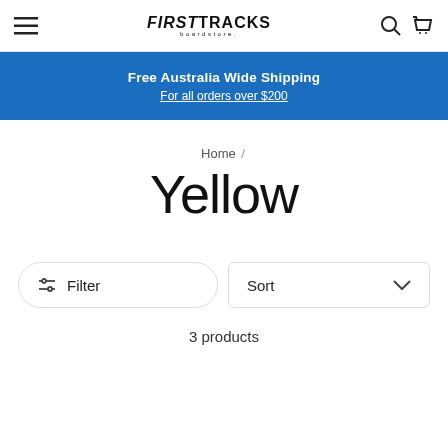FIRSTTRACKS boardstore. [hamburger menu, search, cart icons]
Free Australia Wide Shipping
For all orders over $200
Home /
Yellow
Filter   Sort
3 products